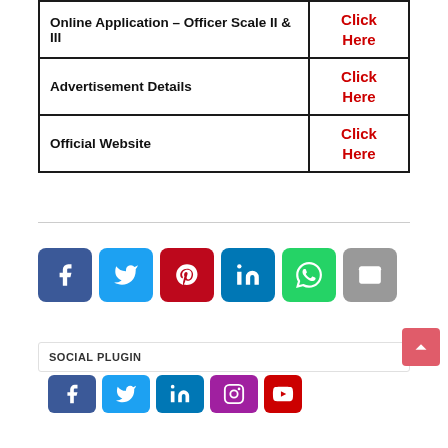|  |  |
| --- | --- |
| Online Application – Officer Scale II & III | Click Here |
| Advertisement Details | Click Here |
| Official Website | Click Here |
[Figure (infographic): Social share buttons row: Facebook (blue), Twitter (cyan), Pinterest (red), LinkedIn (blue), WhatsApp (green), Email (grey)]
SOCIAL PLUGIN
[Figure (infographic): Social media icons row: Facebook, Twitter, LinkedIn, Instagram, YouTube]